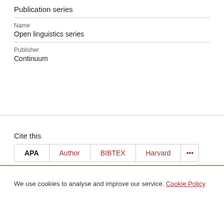Publication series
Name
Open linguistics series
Publisher
Continuum
Cite this
APA | Author | BIBTEX | Harvard | ...
We use cookies to analyse and improve our service. Cookie Policy